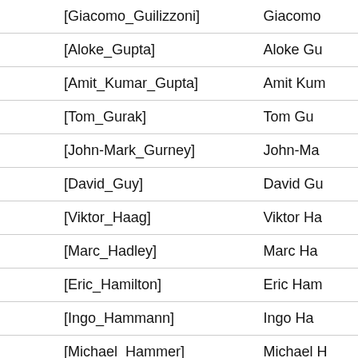| [Giacomo_Guilizzoni] | Giacomo Guilizzoni |
| [Aloke_Gupta] | Aloke Gupta |
| [Amit_Kumar_Gupta] | Amit Kumar Gupta |
| [Tom_Gurak] | Tom Gurak |
| [John-Mark_Gurney] | John-Mark Gurney |
| [David_Guy] | David Guy |
| [Viktor_Haag] | Viktor Haag |
| [Marc_Hadley] | Marc Hadley |
| [Eric_Hamilton] | Eric Hamilton |
| [Ingo_Hammann] | Ingo Hammann |
| [Michael_Hammer] | Michael Hammer |
| [Jiwan_Han] | Jiwan Han |